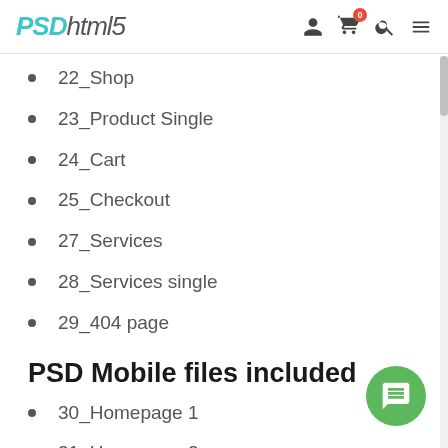PSDhtml5
22_Shop
23_Product Single
24_Cart
25_Checkout
27_Services
28_Services single
29_404 page
PSD Mobile files included
30_Homepage 1
31_Homepage 2
32_Homepage 3
33_About us